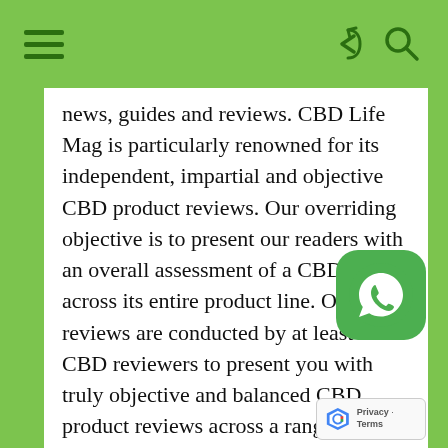Navigation bar with hamburger menu, share icon, and search icon
news, guides and reviews. CBD Life Mag is particularly renowned for its independent, impartial and objective CBD product reviews. Our overriding objective is to present our readers with an overall assessment of a CBD brand across its entire product line. Our reviews are conducted by at least four CBD reviewers to present you with truly objective and balanced CBD product reviews across a range of criteria covering aspects such as packaging, product quality, CBD extraction processes, price points, company claims and the reality and much more. Our reviewers test a CBD product line for a couple weeks by incorporating it into their daily regin... They then assess and biol... ...ult bl...